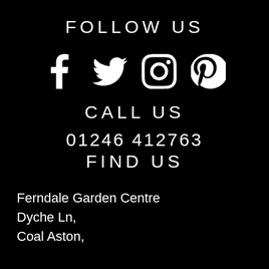FOLLOW US
[Figure (illustration): Social media icons: Facebook, Twitter, Instagram, Pinterest]
CALL US
01246 412763
FIND US
Ferndale Garden Centre
Dyche Ln,
Coal Aston,